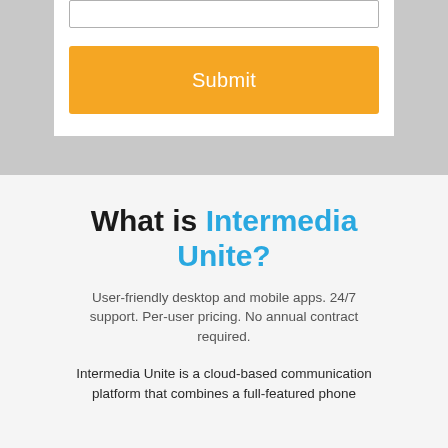[Figure (screenshot): Input field (text box) at top of a white form card on a gray background]
[Figure (screenshot): Orange Submit button inside a white form card on a gray background]
What is Intermedia Unite?
User-friendly desktop and mobile apps. 24/7 support. Per-user pricing. No annual contract required.
Intermedia Unite is a cloud-based communication platform that combines a full-featured phone